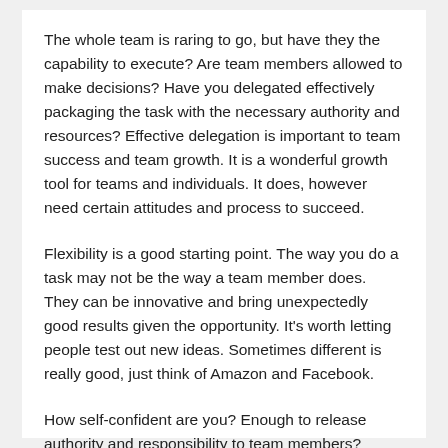The whole team is raring to go, but have they the capability to execute? Are team members allowed to make decisions? Have you delegated effectively packaging the task with the necessary authority and resources? Effective delegation is important to team success and team growth. It is a wonderful growth tool for teams and individuals. It does, however need certain attitudes and process to succeed.
Flexibility is a good starting point. The way you do a task may not be the way a team member does. They can be innovative and bring unexpectedly good results given the opportunity. It's worth letting people test out new ideas. Sometimes different is really good, just think of Amazon and Facebook.
How self-confident are you? Enough to release authority and responsibility to team members? Enough to heap praise publicly when they bring success? Lack of self-confidence and micromanagement are the enemy of